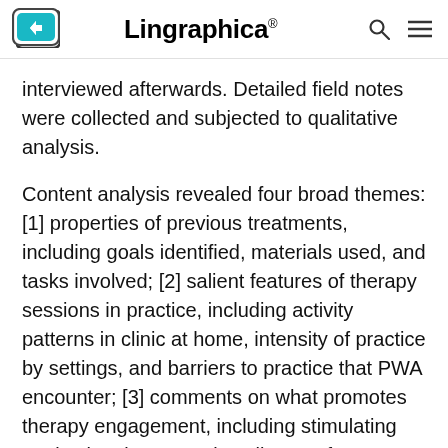Lingraphica®
interviewed afterwards. Detailed field notes were collected and subjected to qualitative analysis.
Content analysis revealed four broad themes: [1] properties of previous treatments, including goals identified, materials used, and tasks involved; [2] salient features of therapy sessions in practice, including activity patterns in clinic at home, intensity of practice by settings, and barriers to practice that PWA encounter; [3] comments on what promotes therapy engagement, including stimulating motivation, incorporating client preferences, and adapting the mix of components; and [4] important benefits of procedural choice-making, including accommodating flexibility,